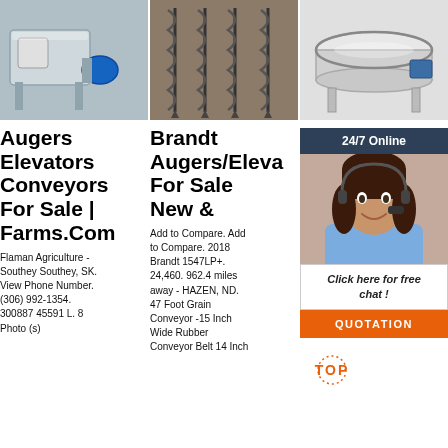[Figure (photo): Steel auger/elevator machinery, stainless steel industrial equipment]
[Figure (photo): Multiple screw augers laid side by side, metallic spiral auger screws]
[Figure (photo): Round sieve/vibrating screen industrial equipment, stainless steel]
Augers Elevators Conveyors For Sale | Farms.Com
Brandt Augers/Elevators For Sale New &
Gr... Bt... An... Co... - K... Fa...
Flaman Agriculture - Southey Southey, SK. View Phone Number. (306) 992-1354. 300887 45591 L. 8 Photo (s)
Add to Compare. Add to Compare. 2018 Brandt 1547LP+. 24,460. 962.4 miles away - HAZEN, ND. 47 Foot Grain Conveyor -15 Inch Wide Rubber Conveyor Belt 14 Inch...
[Figure (photo): Customer support agent with headset, chat overlay panel with 24/7 Online header]
16' conveyor, along with the standard 3-stage spout that extends from 6' to 10', stretch to a 44' reach for easily filling a 16...